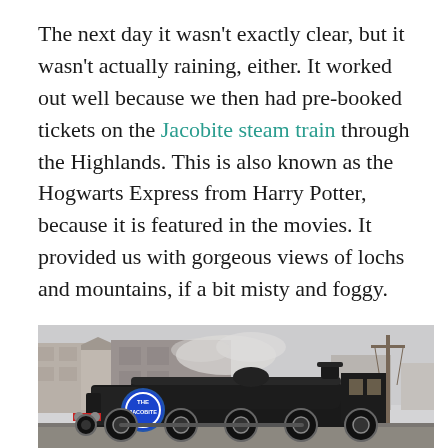The next day it wasn't exactly clear, but it wasn't actually raining, either. It worked out well because we then had pre-booked tickets on the Jacobite steam train through the Highlands. This is also known as the Hogwarts Express from Harry Potter, because it is featured in the movies. It provided us with gorgeous views of lochs and mountains, if a bit misty and foggy.
[Figure (photo): A black steam locomotive (The Jacobite) at a station, with a blue circular 'THE JACOBITE' logo visible on the front. Buildings visible in the background, telegraph pole to the right, overcast sky.]